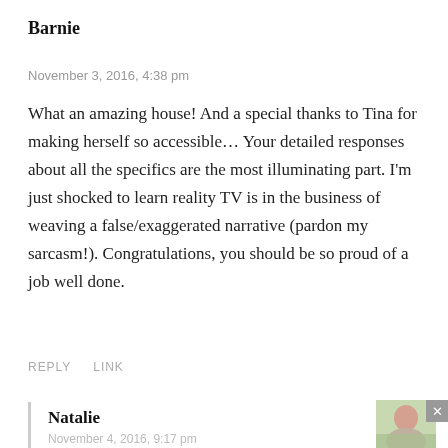Barnie
November 3, 2016, 4:38 pm
What an amazing house! And a special thanks to Tina for making herself so accessible… Your detailed responses about all the specifics are the most illuminating part. I'm just shocked to learn reality TV is in the business of weaving a false/exaggerated narrative (pardon my sarcasm!). Congratulations, you should be so proud of a job well done.
REPLY   LINK
Natalie
November 4, 2016, 9:17 pm